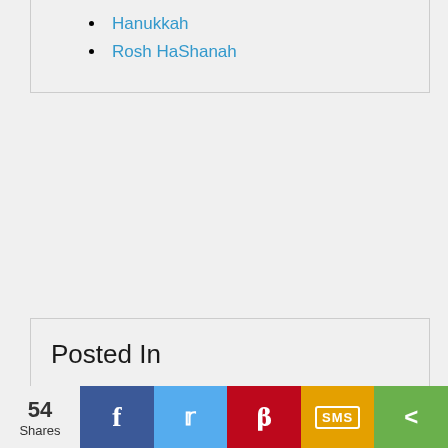Hanukkah
Rosh HaShanah
Posted In
(-) October 2019
(-) November 2018
(-) December 2013
(-) November 2012
(-) November 2011
54 Shares | Facebook | Twitter | Pinterest | SMS | Share